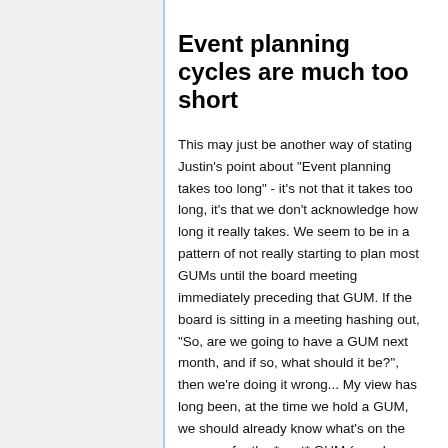Event planning cycles are much too short
This may just be another way of stating Justin's point about "Event planning takes too long" - it's not that it takes too long, it's that we don't acknowledge how long it really takes. We seem to be in a pattern of not really starting to plan most GUMs until the board meeting immediately preceding that GUM. If the board is sitting in a meeting hashing out, "So, are we going to have a GUM next month, and if so, what should it be?", then we're doing it wrong... My view has long been, at the time we hold a GUM, we should already know what's on the program for the *next* GUM (speaker or program committed, venue booked, program already announced to the membership, etc.) - and, preferably, the